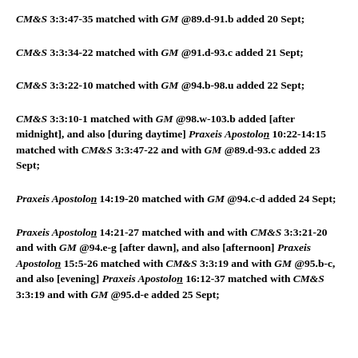CM&S 3:3:47-35 matched with GM @89.d-91.b added 20 Sept;
CM&S 3:3:34-22 matched with GM @91.d-93.c added 21 Sept;
CM&S 3:3:22-10 matched with GM @94.b-98.u added 22 Sept;
CM&S 3:3:10-1 matched with GM @98.w-103.b added [after midnight], and also [during daytime] Praxeis Apostolon 10:22-14:15 matched with CM&S 3:3:47-22 and with GM @89.d-93.c added 23 Sept;
Praxeis Apostolon 14:19-20 matched with GM @94.c-d added 24 Sept;
Praxeis Apostolon 14:21-27 matched with and with CM&S 3:3:21-20 and with GM @94.e-g [after dawn], and also [afternoon] Praxeis Apostolon 15:5-26 matched with CM&S 3:3:19 and with GM @95.b-c, and also [evening] Praxeis Apostolon 16:12-37 matched with CM&S 3:3:19 and with GM @95.d-e added 25 Sept;